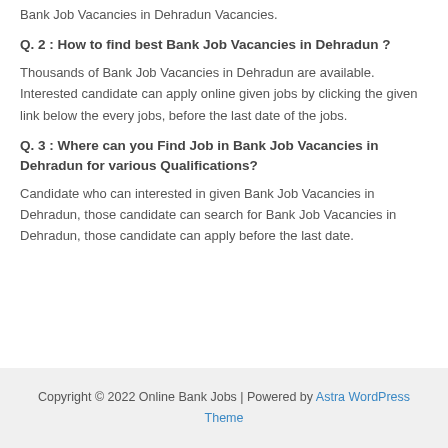Bank Job Vacancies in Dehradun Vacancies.
Q. 2 : How to find best Bank Job Vacancies in Dehradun ?
Thousands of Bank Job Vacancies in Dehradun are available. Interested candidate can apply online given jobs by clicking the given link below the every jobs, before the last date of the jobs.
Q. 3 : Where can you Find Job in Bank Job Vacancies in Dehradun for various Qualifications?
Candidate who can interested in given Bank Job Vacancies in Dehradun, those candidate can search for Bank Job Vacancies in Dehradun, those candidate can apply before the last date.
Copyright © 2022 Online Bank Jobs | Powered by Astra WordPress Theme